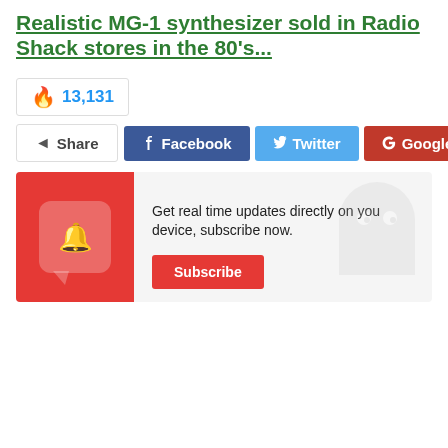Realistic MG-1 synthesizer sold in Radio Shack stores in the 80's...
🔥 13,131
Share | Facebook | Twitter | Google+
[Figure (infographic): Subscribe banner with red left panel containing bell notification icon in speech bubble, and text 'Get real time updates directly on you device, subscribe now.' with a Subscribe button.]